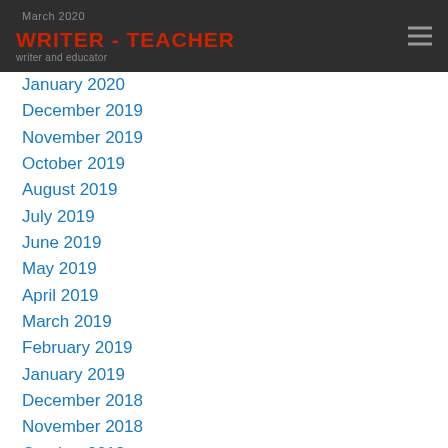WRITER - TEACHER
January 2020
December 2019
November 2019
October 2019
August 2019
July 2019
June 2019
May 2019
April 2019
March 2019
February 2019
January 2019
December 2018
November 2018
October 2018
September 2018
August 2018